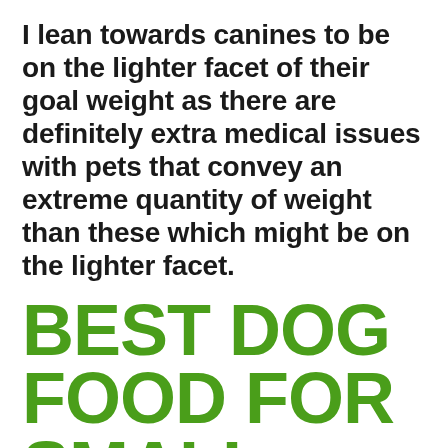I lean towards canines to be on the lighter facet of their goal weight as there are definitely extra medical issues with pets that convey an extreme quantity of weight than these which might be on the lighter facet.
BEST DOG FOOD FOR SMALL DOGS